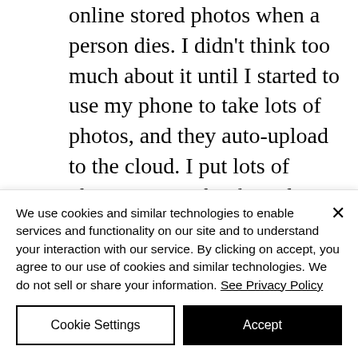online stored photos when a person dies. I didn't think too much about it until I started to use my phone to take lots of photos, and they auto-upload to the cloud. I put lots of photos on Facebook, and was wondering what happens to the Facebook records, posts, photos and videos should I die? – N.R.
We use cookies and similar technologies to enable services and functionality on our site and to understand your interaction with our service. By clicking on accept, you agree to our use of cookies and similar technologies. We do not sell or share your information. See Privacy Policy